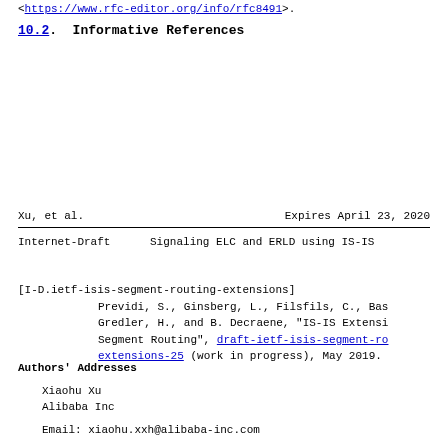<https://www.rfc-editor.org/info/rfc8491>.
10.2. Informative References
Xu, et al.                    Expires April 23, 2020
Internet-Draft      Signaling ELC and ERLD using IS-IS
[I-D.ietf-isis-segment-routing-extensions]
            Previdi, S., Ginsberg, L., Filsfils, C., Bas
            Gredler, H., and B. Decraene, "IS-IS Extensi
            Segment Routing", draft-ietf-isis-segment-ro
            extensions-25 (work in progress), May 2019.
Authors' Addresses
Xiaohu Xu
Alibaba Inc
Email: xiaohu.xxh@alibaba-inc.com